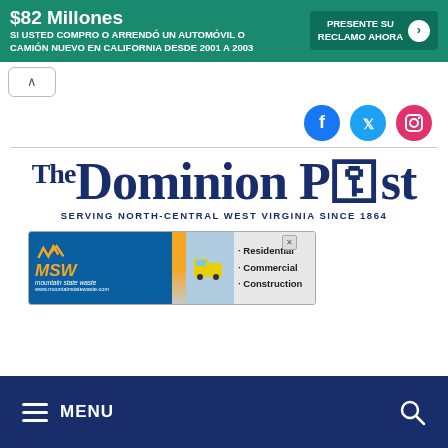[Figure (infographic): Green advertisement banner in Spanish: '$82 Millones SI USTED COMPRO O ARRENDÓ UN AUTOMÓVIL O CAMIÓN NUEVO EN CALIFORNIA DESDE 2001 A 2003' with 'PRESENTE SU RECLAMO AHORA' call to action button]
[Figure (infographic): Social media icons: Facebook (blue circle), Twitter (blue circle), Instagram (red/pink circle)]
The Dominion Post
SERVING NORTH-CENTRAL WEST VIRGINIA SINCE 1864
[Figure (infographic): MSW Mountain State Waste advertisement with truck image: Residential, Commercial, Construction services. www.mountainstatewaste.com]
[Figure (infographic): Dark navy blue navigation menu bar with hamburger menu icon, MENU text, and search icon]